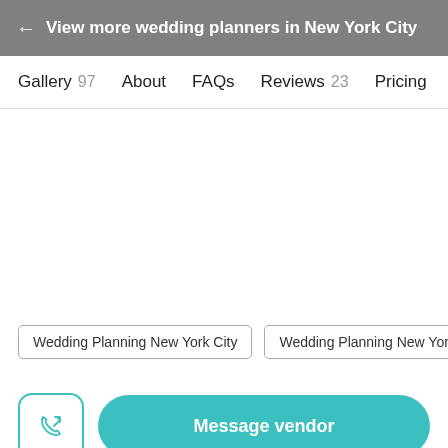← View more wedding planners in New York City
Gallery 97   About   FAQs   Reviews 23   Pricing
Wedding Planning New York City
Wedding Planning New York
Message vendor